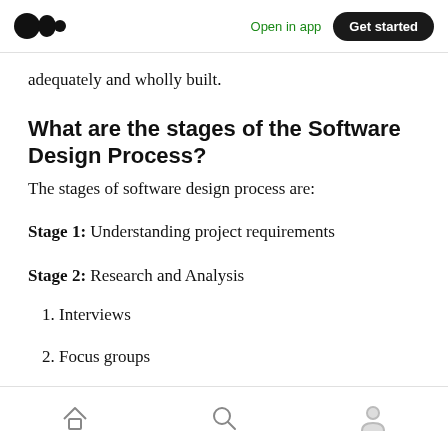Open in app | Get started
adequately and wholly built.
What are the stages of the Software Design Process?
The stages of software design process are:
Stage 1: Understanding project requirements
Stage 2: Research and Analysis
1. Interviews
2. Focus groups
Home | Search | Profile